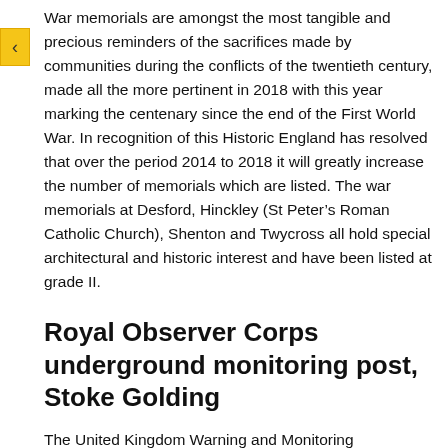War memorials are amongst the most tangible and precious reminders of the sacrifices made by communities during the conflicts of the twentieth century, made all the more pertinent in 2018 with this year marking the centenary since the end of the First World War. In recognition of this Historic England has resolved that over the period 2014 to 2018 it will greatly increase the number of memorials which are listed. The war memorials at Desford, Hinckley (St Peter's Roman Catholic Church), Shenton and Twycross all hold special architectural and historic interest and have been listed at grade II.
Royal Observer Corps underground monitoring post, Stoke Golding
The United Kingdom Warning and Monitoring Organisation (UKWMO) underground post at Stoke Golding was opened in May 1960 when the main role of the Royal Observer Corps (ROC) became nuclear reporting. As part of the network of subterranean posts designed to monitor radioactive fallout following a nuclear attack it embodies the nation's attempt at countering the threat of nuclear attack during the Cold War. Following the stand down of the ROC in 1991, monitoring posts